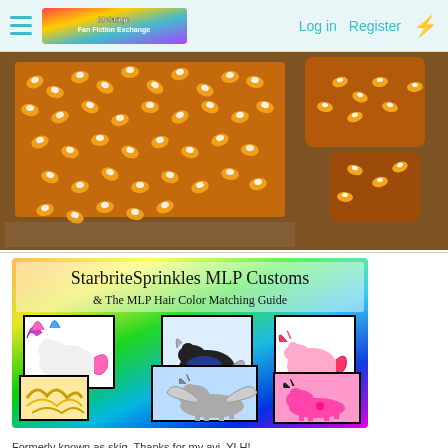Log in  Register
[Figure (photo): Photo of candy corn treats/candies arranged on a dark surface, showing orange, yellow and white candy corn pieces packed together in a flat slab and bundled bags]
[Figure (illustration): StarbriteSprinkles MLP Customs banner image showing colorful My Little Pony custom figures on a rainbow gradient background. Text reads: StarbriteSprinkles MLP Customs & The MLP Hair Color Matching Guide]
Formerly known as skig. Thanks for my avi, YLH!